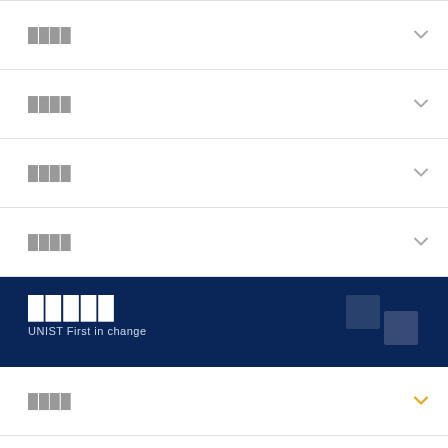████
████
████
████
█████ UNIST First in change
████
Research project demand survey
████